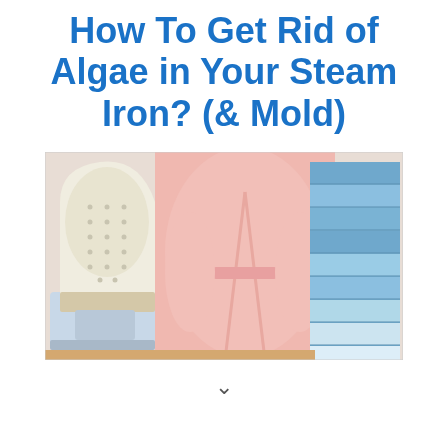How To Get Rid of Algae in Your Steam Iron? (& Mold)
[Figure (photo): A steam iron (white/cream colored, soleplate facing viewer) on the left, a person in a pink robe standing in the center background, and a stack of neatly folded blue/teal towels on the right. Scene appears to be a laundry/ironing context.]